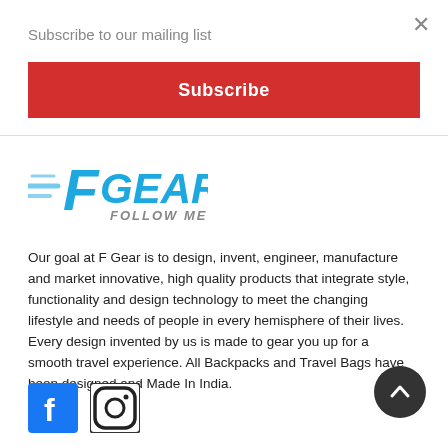Subscribe to our mailing list
×
Subscribe
[Figure (logo): F Gear Follow Me logo in blue and grey]
Our goal at F Gear is to design, invent, engineer, manufacture and market innovative, high quality products that integrate style, functionality and design technology to meet the changing lifestyle and needs of people in every hemisphere of their lives. Every design invented by us is made to gear you up for a smooth travel experience. All Backpacks and Travel Bags have been designed and Made In India.
[Figure (illustration): Facebook and Instagram social media icons]
[Figure (illustration): Back to top arrow button (dark circle with up chevron)]